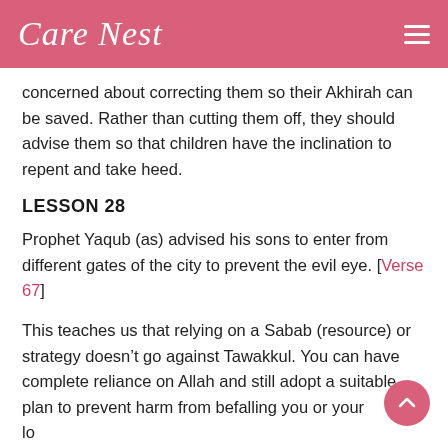Care Nest
concerned about correcting them so their Akhirah can be saved. Rather than cutting them off, they should advise them so that children have the inclination to repent and take heed.
LESSON 28
Prophet Yaqub (as) advised his sons to enter from different gates of the city to prevent the evil eye. [Verse 67]
This teaches us that relying on a Sabab (resource) or strategy doesn't go against Tawakkul. You can have complete reliance on Allah and still adopt a suitable plan to prevent harm from befalling you or your loved ones.
LESSON 29